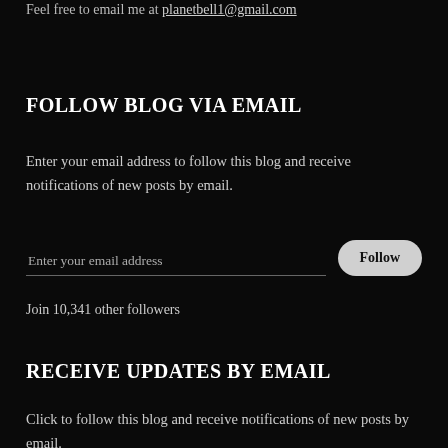Feel free to email me at planetbell1@gmail.com
FOLLOW BLOG VIA EMAIL
Enter your email address to follow this blog and receive notifications of new posts by email.
Join 10,341 other followers
RECEIVE UPDATES BY EMAIL
Click to follow this blog and receive notifications of new posts by email.